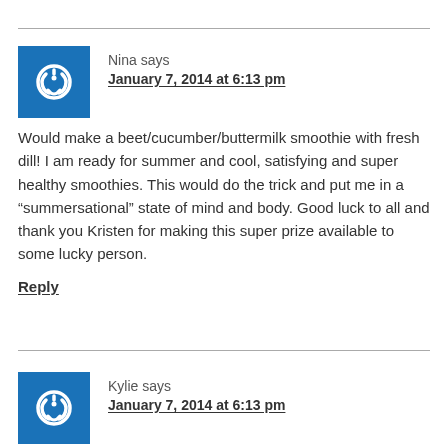Nina says
January 7, 2014 at 6:13 pm
Would make a beet/cucumber/buttermilk smoothie with fresh dill! I am ready for summer and cool, satisfying and super healthy smoothies. This would do the trick and put me in a “summersational” state of mind and body. Good luck to all and thank you Kristen for making this super prize available to some lucky person.
Reply
Kylie says
January 7, 2014 at 6:13 pm